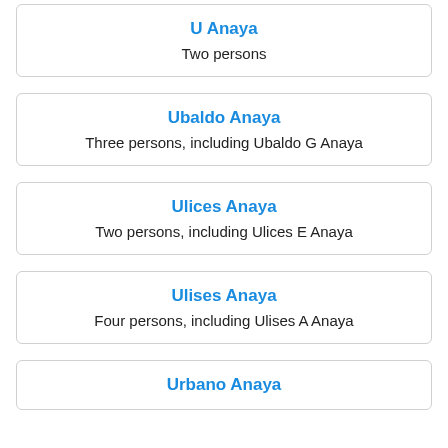U Anaya
Two persons
Ubaldo Anaya
Three persons, including Ubaldo G Anaya
Ulices Anaya
Two persons, including Ulices E Anaya
Ulises Anaya
Four persons, including Ulises A Anaya
Urbano Anaya